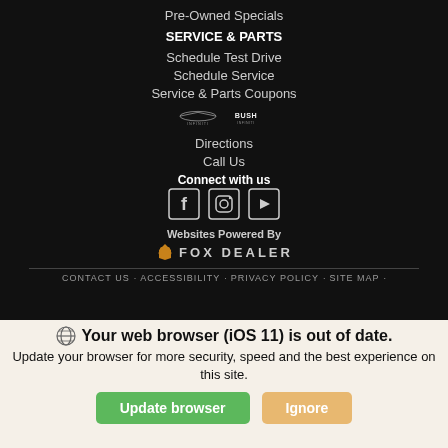Pre-Owned Specials
SERVICE & PARTS
Schedule Test Drive
Schedule Service
Service & Parts Coupons
[Figure (logo): Infiniti and Bush auto dealer logos]
Directions
Call Us
Connect with us
[Figure (illustration): Social media icons: Facebook, Instagram, YouTube]
Websites Powered By
[Figure (logo): Fox Dealer logo with paw icon]
CONTACT US · ACCESSIBILITY · PRIVACY POLICY · SITE MAP ·
Your web browser (iOS 11) is out of date. Update your browser for more security, speed and the best experience on this site.
Update browser | Ignore